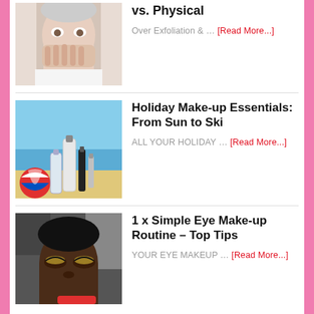[Figure (photo): Woman covering her face with hands]
vs. Physical
Over Exfoliation & … [Read More...]
[Figure (photo): Makeup products on a beach with sea in background]
Holiday Make-up Essentials: From Sun to Ski
ALL YOUR HOLIDAY … [Read More...]
[Figure (photo): Woman with closed eyes wearing eye makeup]
1 x Simple Eye Make-up Routine – Top Tips
YOUR EYE MAKEUP … [Read More...]